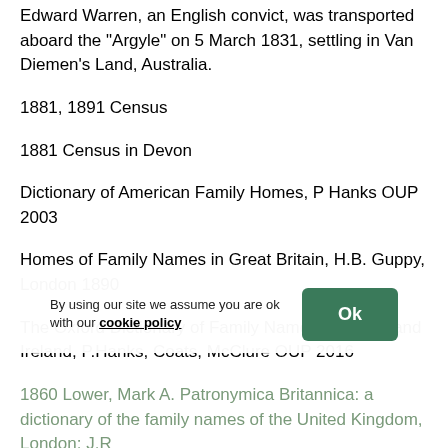Edward Warren, an English convict, was transported aboard the "Argyle" on 5 March 1831, settling in Van Diemen's Land, Australia.
1881, 1891 Census
1881 Census in Devon
Dictionary of American Family Homes, P Hanks OUP 2003
Homes of Family Names in Great Britain, H.B. Guppy, London 1890
The Oxford Dictionary of Family Names in Britain and Ireland, P.Hanks, Coats, McClure OUP 2016
1860 Lower, Mark A. Patronymica Britannica: a dictionary of the family names of the United Kingdom, London: J.R